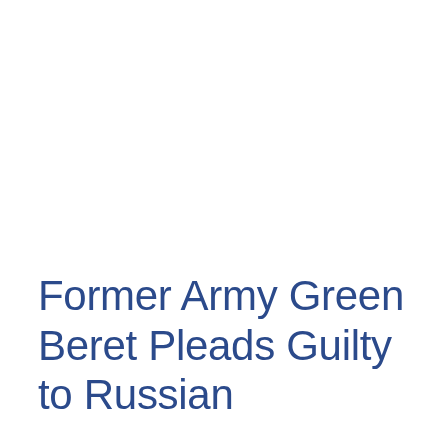Former Army Green Beret Pleads Guilty to Russian